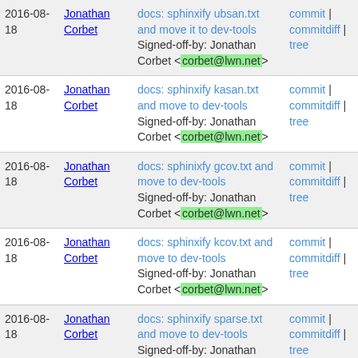| Date | Author | Message | Actions |
| --- | --- | --- | --- |
| 2016-08-18 | Jonathan Corbet | docs: sphinxify ubsan.txt and move it to dev-tools
Signed-off-by: Jonathan Corbet <corbet@lwn.net> | commit | commitdiff | tree |
| 2016-08-18 | Jonathan Corbet | docs: sphinxify kasan.txt and move to dev-tools
Signed-off-by: Jonathan Corbet <corbet@lwn.net> | commit | commitdiff | tree |
| 2016-08-18 | Jonathan Corbet | docs: sphinixfy gcov.txt and move to dev-tools
Signed-off-by: Jonathan Corbet <corbet@lwn.net> | commit | commitdiff | tree |
| 2016-08-18 | Jonathan Corbet | docs: sphinxify kcov.txt and move to dev-tools
Signed-off-by: Jonathan Corbet <corbet@lwn.net> | commit | commitdiff | tree |
| 2016-08-18 | Jonathan Corbet | docs: sphinxify sparse.txt and move to dev-tools
Signed-off-by: Jonathan Corbet <corbet@lwn.net> | commit | commitdiff | tree |
| 2016-08-18 | Jonathan Corbet | docs: sphinxify coccinelle.txt and add it to dev-tools | commit | commitdiff | |